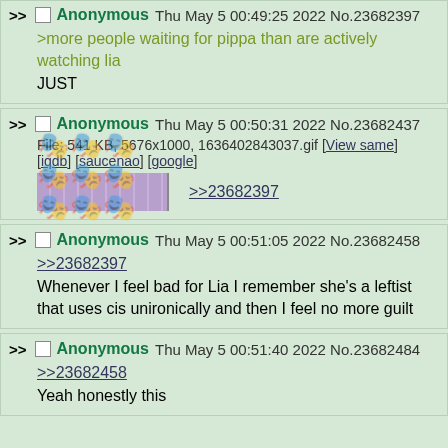>> Anonymous Thu May 5 00:49:25 2022 No.23682397
>more people waiting for pippa than are actively watching lia
JUST
>> Anonymous Thu May 5 00:50:31 2022 No.23682437
File: 541 KB, 5676x1000, 1636402843037.gif [View same] [iqdb] [saucenao] [google]
[image thumbnail] >>23682397
>> Anonymous Thu May 5 00:51:05 2022 No.23682458
>>23682397
Whenever I feel bad for Lia I remember she's a leftist that uses cis unironically and then I feel no more guilt
>> Anonymous Thu May 5 00:51:40 2022 No.23682484
>>23682458
Yeah honestly this